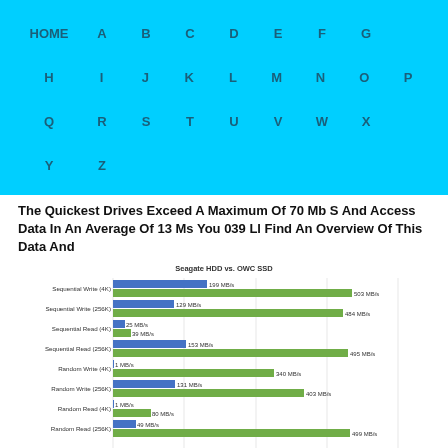HOME A B C D E F G H I J K L M N O P Q R S T U V W X Y Z
The Quickest Drives Exceed A Maximum Of 70 Mb S And Access Data In An Average Of 13 Ms You 039 Ll Find An Overview Of This Data And
[Figure (bar-chart): Seagate HDD vs. OWC SSD]